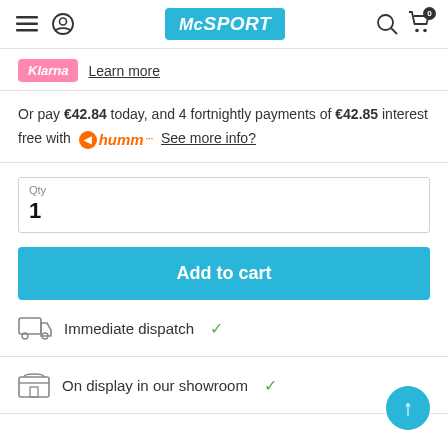McSPORT navigation bar with menu, account, search, and cart icons
[Figure (logo): Klarna pink logo pill with text 'Klarna']
Learn more
Or pay €42.84 today, and 4 fortnightly payments of €42.85 interest free with humm See more info?
Qty
1
Add to cart
Immediate dispatch ✓
On display in our showroom ✓